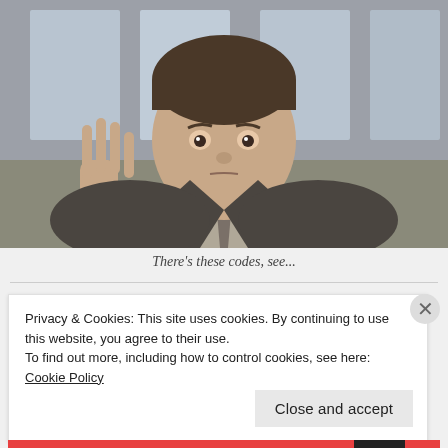[Figure (photo): A man in a dark suit and tie holding up three or four fingers toward the camera with a serious/concerned expression. Blurred office background.]
There's these codes, see...
Privacy & Cookies: This site uses cookies. By continuing to use this website, you agree to their use.
To find out more, including how to control cookies, see here: Cookie Policy
Close and accept